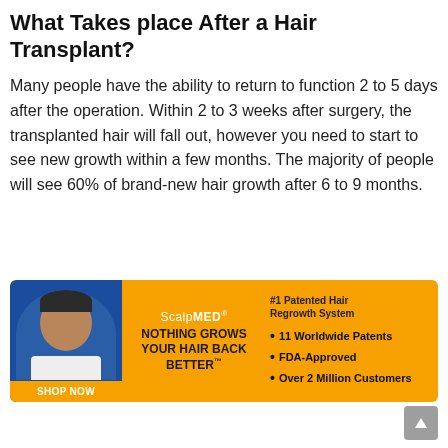What Takes place After a Hair Transplant?
Many people have the ability to return to function 2 to 5 days after the operation. Within 2 to 3 weeks after surgery, the transplanted hair will fall out, however you need to start to see new growth within a few months. The majority of people will see 60% of brand-new hair growth after 6 to 9 months.
[Figure (infographic): ScalpMED advertisement banner with man's photo on blue background, orange background with tagline 'NOTHING GROWS YOUR HAIR BACK BETTER™', ScalpMED logo, bullet points listing '11 Worldwide Patents', 'FDA-Approved', 'Over 2 Million Customers', and a '#1 Patented Hair Regrowth System' label. Shop Now button visible.]